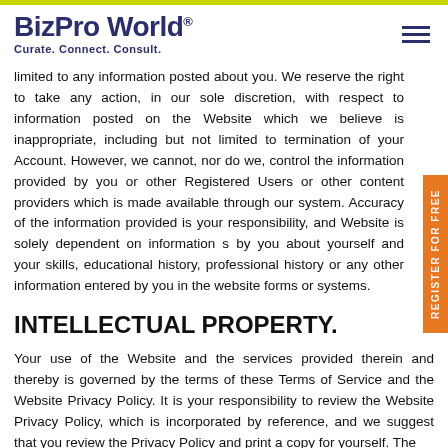BizPro World® Curate. Connect. Consult.
limited to any information posted about you. We reserve the right to take any action, in our sole discretion, with respect to information posted on the Website which we believe is inappropriate, including but not limited to termination of your Account. However, we cannot, nor do we, control the information provided by you or other Registered Users or other content providers which is made available through our system. Accuracy of the information provided is your responsibility, and Website is solely dependent on information given by you about yourself and your skills, educational history, professional history or any other information entered by you in the website forms or systems.
INTELLECTUAL PROPERTY.
Your use of the Website and the services provided therein and thereby is governed by the terms of these Terms of Service and the Website Privacy Policy. It is your responsibility to review the Website Privacy Policy, which is incorporated by reference, and we suggest that you review the Privacy Policy and print a copy for yourself. The